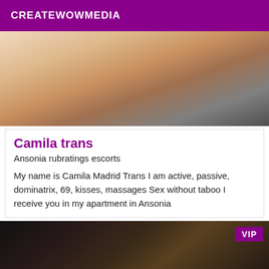CREATEWOWMEDIA
[Figure (photo): Person posed on floor, adult content listing image]
Camila trans
Ansonia rubratings escorts
My name is Camila Madrid Trans I am active, passive, dominatrix, 69, kisses, massages Sex without taboo I receive you in my apartment in Ansonia
[Figure (photo): Person in dark outfit, VIP listing image with VIP badge]